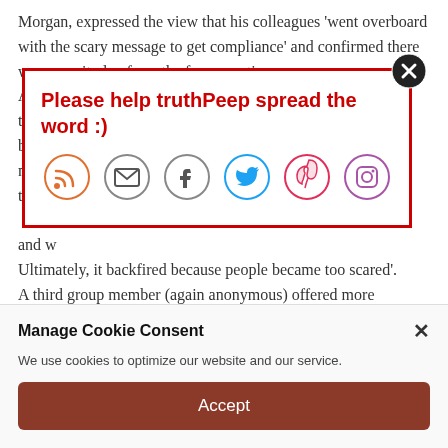Morgan, expressed the view that his colleagues 'went overboard with the scary message to get compliance' and confirmed there was no exit plan from the fear narrative. A... th... be... m... th...
[Figure (infographic): Social share popup overlay with red border. Title reads 'Please help truthPeep spread the word :)' with RSS, email, Facebook, Twitter, Pinterest, and Instagram icon buttons. Close button (X in circle) at top right.]
and w... Ultimately, it backfired because people became too scared'. A third group member (again anonymous) offered more generalised criticism: 'People use the pandemic to grab
Manage Cookie Consent
We use cookies to optimize our website and our service.
Accept